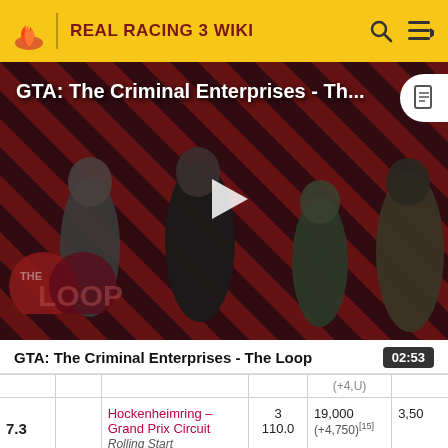REAL RACING 3 WIKI
[Figure (screenshot): Video thumbnail for GTA: The Criminal Enterprises - The Loop, showing game characters on a diagonal red/black striped background with a play button overlay and THE LOOP logo badge]
GTA: The Criminal Enterprises - The Loop
|  |  |  | 3
110.0 | 19,000
(+4,750)[15] | 3,50 |
| --- | --- | --- | --- | --- | --- |
| 7.3 |  | Hockenheimring – Grand Prix Circuit
Rolling Start | 3
110.0 | 19,000
(+4,750)[15] | 3,50 |
|  | Cup |  |  |  |  |